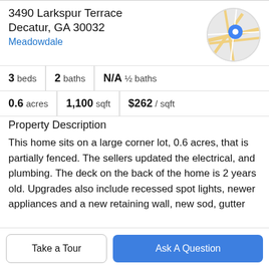3490 Larkspur Terrace
Decatur, GA 30032
Meadowdale
[Figure (map): Circular map thumbnail showing street map with blue location pin marker]
|  |  |  |
| --- | --- | --- |
| 3 beds | 2 baths | N/A ½ baths |
| 0.6 acres | 1,100 sqft | $262 / sqft |
Property Description
This home sits on a large corner lot, 0.6 acres, that is partially fenced. The sellers updated the electrical, and plumbing. The deck on the back of the home is 2 years old. Upgrades also include recessed spot lights, newer appliances and a new retaining wall, new sod, gutter
Take a Tour
Ask A Question